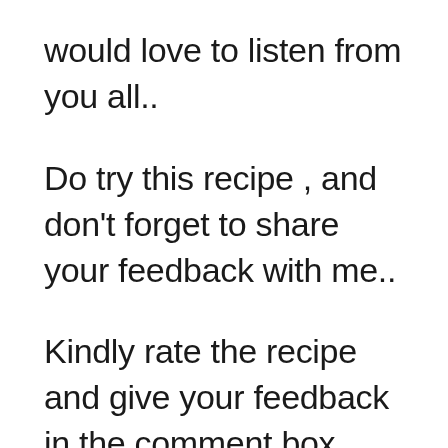would love to listen from you all..
Do try this recipe , and don't forget to share your feedback with me..
Kindly rate the recipe and give your feedback in the comment box below